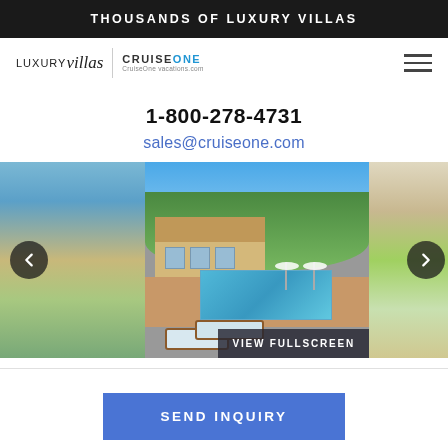THOUSANDS OF LUXURY VILLAS
[Figure (logo): LuxuryVillas | CruiseOne logo with hamburger menu]
1-800-278-4731
sales@cruiseone.com
[Figure (photo): Photo carousel showing luxury villa with swimming pool, lounge chairs, lush greenery, with left/right navigation arrows and VIEW FULLSCREEN button]
SEND INQUIRY